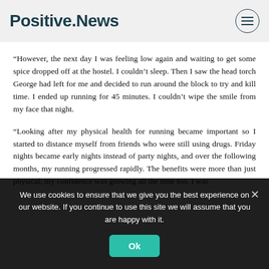Positive.News
“However, the next day I was feeling low again and waiting to get some spice dropped off at the hostel. I couldn’t sleep. Then I saw the head torch George had left for me and decided to run around the block to try and kill time. I ended up running for 45 minutes. I couldn’t wipe the smile from my face that night.
“Looking after my physical health for running became important so I started to distance myself from friends who were still using drugs. Friday nights became early nights instead of party nights, and over the following months, my running progressed rapidly. The benefits were more than just physical; my confidence was growing all the time too. I was
We use cookies to ensure that we give you the best experience on our website. If you continue to use this site we will assume that you are happy with it.